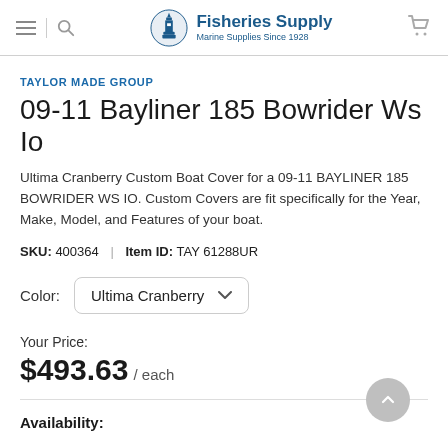Fisheries Supply — Marine Supplies Since 1928
TAYLOR MADE GROUP
09-11 Bayliner 185 Bowrider Ws Io
Ultima Cranberry Custom Boat Cover for a 09-11 BAYLINER 185 BOWRIDER WS IO. Custom Covers are fit specifically for the Year, Make, Model, and Features of your boat.
SKU: 400364 | Item ID: TAY 61288UR
Color: Ultima Cranberry
Your Price: $493.63 / each
Availability: